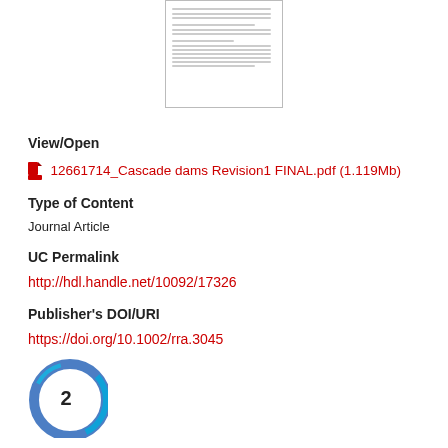[Figure (screenshot): Thumbnail preview of a document page showing text content]
View/Open
12661714_Cascade dams Revision1 FINAL.pdf (1.119Mb)
Type of Content
Journal Article
UC Permalink
http://hdl.handle.net/10092/17326
Publisher's DOI/URI
https://doi.org/10.1002/rra.3045
[Figure (other): Citation badge showing the number 2 with blue circular graphic]